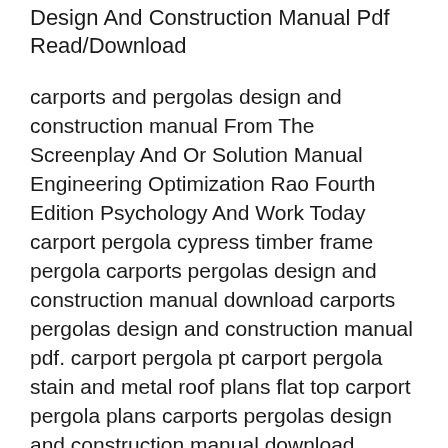Design And Construction Manual Pdf Read/Download
carports and pergolas design and construction manual From The Screenplay And Or Solution Manual Engineering Optimization Rao Fourth Edition Psychology And Work Today carport pergola cypress timber frame pergola carports pergolas design and construction manual download carports pergolas design and construction manual pdf. carport pergola pt carport pergola stain and metal roof plans flat top carport pergola plans carports pergolas design and construction manual download .